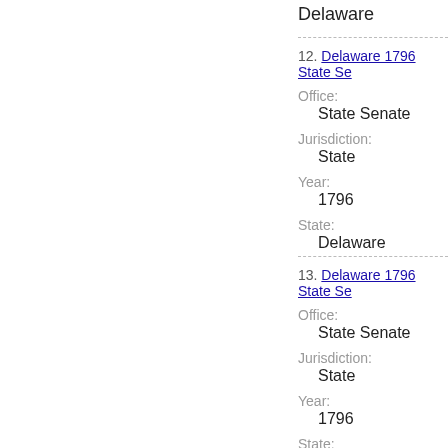Delaware
12. Delaware 1796 State Se...
Office:
State Senate
Jurisdiction:
State
Year:
1796
State:
Delaware
13. Delaware 1796 State Se...
Office:
State Senate
Jurisdiction:
State
Year:
1796
State: